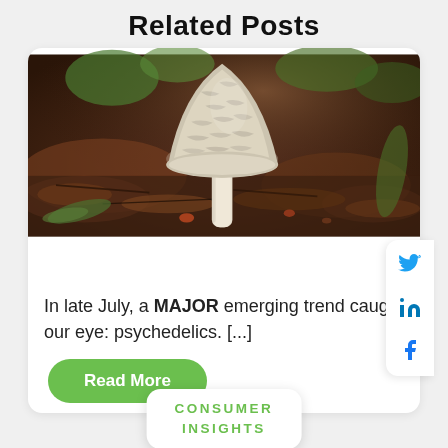Related Posts
[Figure (photo): Close-up photo of a white mushroom growing from forest floor with blurred background of leaves and vegetation]
CONSUMER INSIGHTS
In late July, a MAJOR emerging trend caught our eye: psychedelics. [...]
Read More